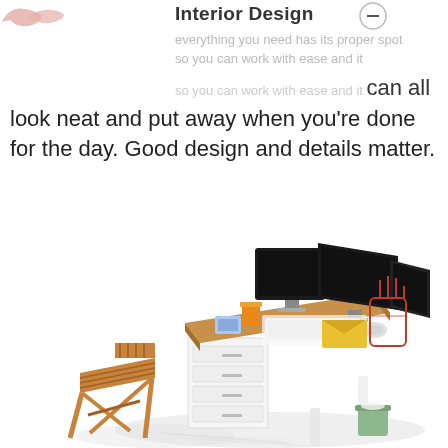Interior Design
everything you need has its proper spot so you can work with ease and it can all look neat and put away when you're done for the day. Good design and details matter.
[Figure (illustration): Isometric illustration of a home office workspace with a wooden desk, dual monitors, keyboard, mouse, orange cup, folders, a folding wooden chair, and a small green trash can. A pointing hand icon appears to the right of the desk.]